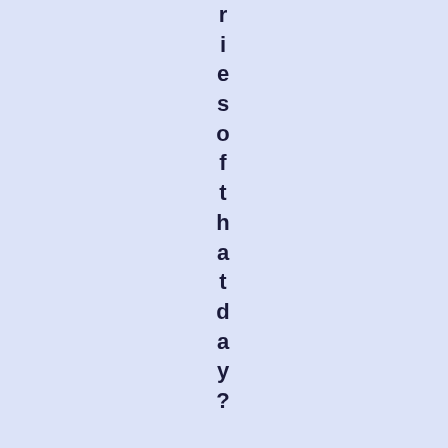riesofthatday? Imagecourtesyof